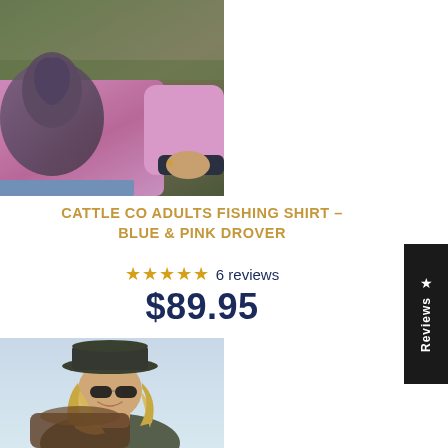[Figure (photo): Person wearing a purple/pink sweatshirt with a horse graphic print, standing outdoors near a fence with green grass in background, arms spread out, wearing jeans]
CATTLE CO ADULTS FISHING SHIRT - BLUE & PINK DROVER
★★★★★ 6 reviews
$89.95
[Figure (photo): Woman wearing a dark cowboy hat and sunglasses, smiling, outdoors in a sunny environment, appears to be near a horse or saddle]
★ Reviews